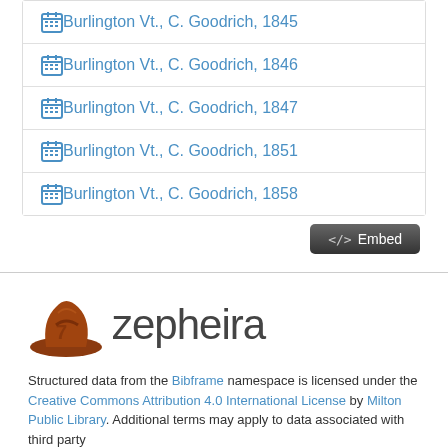Burlington Vt., C. Goodrich, 1845
Burlington Vt., C. Goodrich, 1846
Burlington Vt., C. Goodrich, 1847
Burlington Vt., C. Goodrich, 1851
Burlington Vt., C. Goodrich, 1858
[Figure (logo): Zepheira logo with brown cowboy hat icon and 'zepheira' text]
Structured data from the Bibframe namespace is licensed under the Creative Commons Attribution 4.0 International License by Milton Public Library. Additional terms may apply to data associated with third party